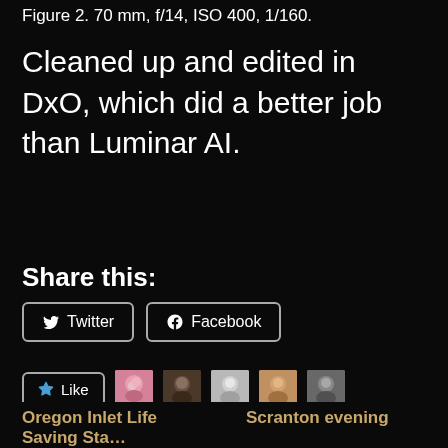Figure 2. 70 mm, f/14, ISO 400, 1/160.
Cleaned up and edited in DxO, which did a better job than Luminar AI.
Share this:
Twitter  Facebook
Like  [5 blogger avatars]
5 bloggers like this.
Oregon Inlet Life  Scranton evening